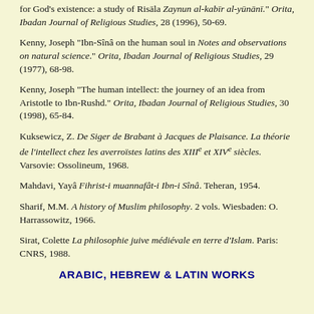for God's existence: a study of Risāla Zaynun al-kabīr al-yūnānī." Orita, Ibadan Journal of Religious Studies, 28 (1996), 50-69.
Kenny, Joseph "Ibn-Sînâ on the human soul in Notes and observations on natural science." Orita, Ibadan Journal of Religious Studies, 29 (1977), 68-98.
Kenny, Joseph "The human intellect: the journey of an idea from Aristotle to Ibn-Rushd." Orita, Ibadan Journal of Religious Studies, 30 (1998), 65-84.
Kuksewicz, Z. De Siger de Brabant à Jacques de Plaisance. La théorie de l'intellect chez les averroïstes latins des XIIIe et XIVe siècles. Varsovie: Ossolineum, 1968.
Mahdavi, Yayâ Fihrist-i muannafât-i Ibn-i Sînâ. Teheran, 1954.
Sharif, M.M. A history of Muslim philosophy. 2 vols. Wiesbaden: O. Harrassowitz, 1966.
Sirat, Colette La philosophie juive médiévale en terre d'Islam. Paris: CNRS, 1988.
ARABIC, HEBREW & LATIN WORKS